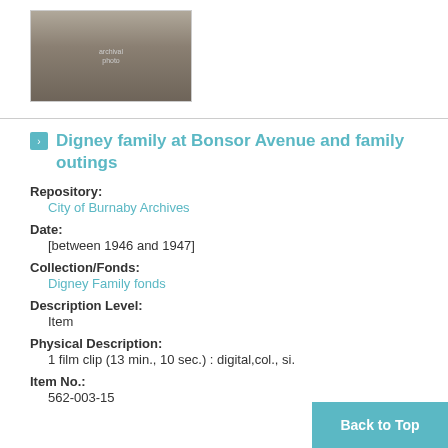[Figure (photo): Thumbnail photograph showing a group of people, black and white archival image]
Digney family at Bonsor Avenue and family outings
Repository:
City of Burnaby Archives
Date:
[between 1946 and 1947]
Collection/Fonds:
Digney Family fonds
Description Level:
Item
Physical Description:
1 film clip (13 min., 10 sec.) : digital,col., si.
Item No.:
562-003-15